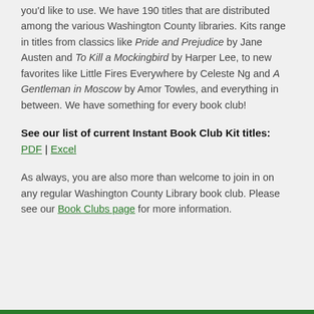you'd like to use. We have 190 titles that are distributed among the various Washington County libraries. Kits range in titles from classics like Pride and Prejudice by Jane Austen and To Kill a Mockingbird by Harper Lee, to new favorites like Little Fires Everywhere by Celeste Ng and A Gentleman in Moscow by Amor Towles, and everything in between. We have something for every book club!
See our list of current Instant Book Club Kit titles: PDF | Excel
As always, you are also more than welcome to join in on any regular Washington County Library book club. Please see our Book Clubs page for more information.